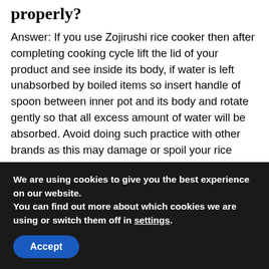properly?
Answer: If you use Zojirushi rice cooker then after completing cooking cycle lift the lid of your product and see inside its body, if water is left unabsorbed by boiled items so insert handle of spoon between inner pot and its body and rotate gently so that all excess amount of water will be absorbed. Avoid doing such practice with other brands as this may damage or spoil your rice cooker lid very soon!
Is it necessary to warm up Zojirushi Rice Cooker before switching on
We are using cookies to give you the best experience on our website.
You can find out more about which cookies we are using or switch them off in settings.
Accept